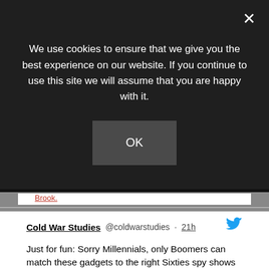We use cookies to ensure that we give you the best experience on our website. If you continue to use this site we will assume that you are happy with it.
OK
Brook.
Cold War Studies @coldwarstudies · 21h
Just for fun: Sorry Millennials, only Boomers can match these gadgets to the right Sixties spy shows https://www.metv.com/quiz/sorry-millennials-only-boomers-can... https://www.metv.com/quiz/sorry-millennials-only-boomers-can...
Twitter
Cold War Studies @coldwarstudies · 22h